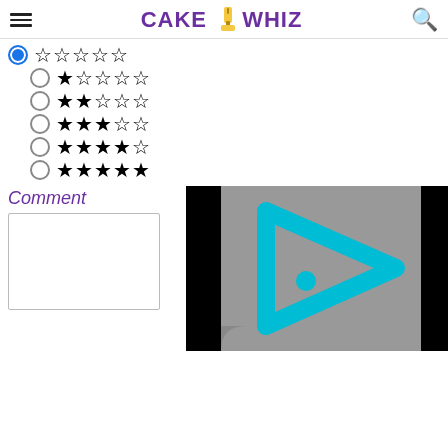CAKE WHIZ
1 star rating (selected)
2 star rating
3 star rating
4 star rating
5 star rating
Comment
[Figure (screenshot): Video player thumbnail showing a cyan play button icon on a gray background with black borders]